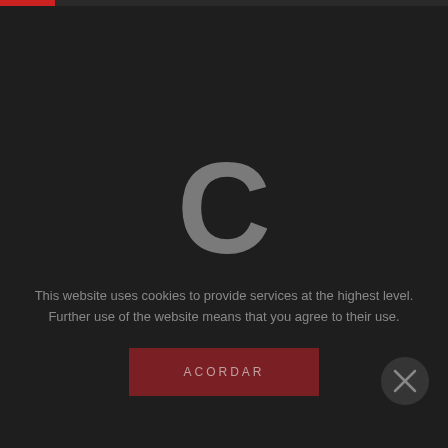[Figure (screenshot): Dark website loading screen with a large grey letter C in the center, a red progress bar at the top left, a cookie consent message, an ACORDAR button, and a close button.]
This website uses cookies to provide services at the highest level. Further use of the website means that you agree to their use.
ACORDAR